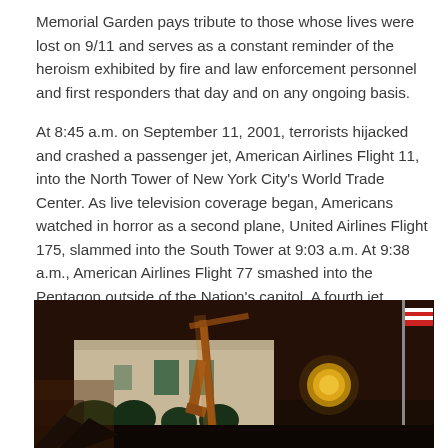Memorial Garden pays tribute to those whose lives were lost on 9/11 and serves as a constant reminder of the heroism exhibited by fire and law enforcement personnel and first responders that day and on any ongoing basis.
At 8:45 a.m. on September 11, 2001, terrorists hijacked and crashed a passenger jet, American Airlines Flight 11, into the North Tower of New York City's World Trade Center. As live television coverage began, Americans watched in horror as a second plane, United Airlines Flight 175, slammed into the South Tower at 9:03 a.m. At 9:38 a.m., American Airlines Flight 77 smashed into the Pentagon outside of the Nation's capitol. A fourth jet, United Airlines Flight 93 bound for Washington, D.C., crashed outside of Shanksville, Pennsylvania at 10:03 a.m.
[Figure (photo): Nighttime photograph showing a building with construction equipment (crane/excavator) in front, illuminated against a dark sky. A flagpole with a red and white flag is visible on the right. A lit golden dome or lantern structure is visible in the background center.]